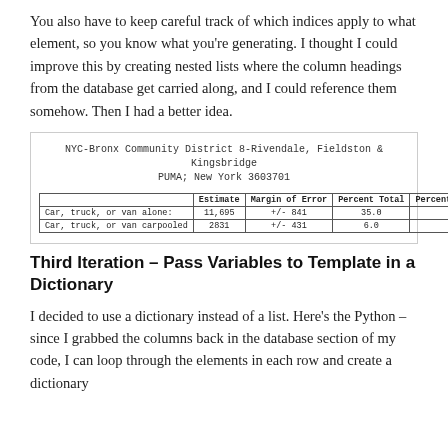You also have to keep careful track of which indices apply to what element, so you know what you're generating. I thought I could improve this by creating nested lists where the column headings from the database get carried along, and I could reference them somehow. Then I had a better idea.
[Figure (screenshot): Screenshot of a Census data table for NYC-Bronx Community District 8-Rivendale, Fieldston & Kingsbridge PUMA; New York 3603701, showing rows for Car, truck, or van alone (Estimate: 11,695, Margin of Error: +/- 841, Percent Total: 35.0, Percent Margin of Error: +/- 1.7) and Car, truck, or van carpooled (Estimate: 2831, Margin of Error: +/- 431, Percent Total: 6.0, Percent Margin of Error: +/- 0.9)]
Third Iteration – Pass Variables to Template in a Dictionary
I decided to use a dictionary instead of a list. Here's the Python – since I grabbed the columns back in the database section of my code, I can loop through the elements in each row and create a dictionary